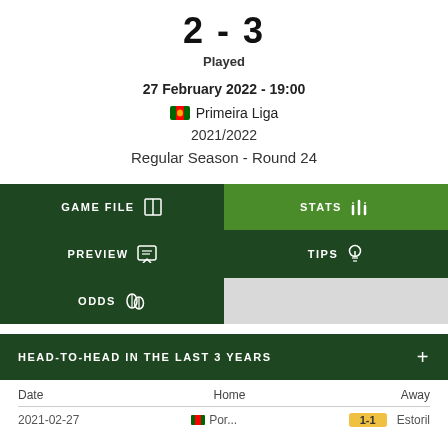2 - 3
Played
27 February 2022 - 19:00
Primeira Liga
2021/2022
Regular Season - Round 24
|  |  |
| --- | --- |
| GAME FILE | STATS |
| PREVIEW | TIPS |
| ODDS |  |
HEAD-TO-HEAD IN THE LAST 3 YEARS
| Date | Home | Away |
| --- | --- | --- |
| 2021-02-27 | ... | ... |